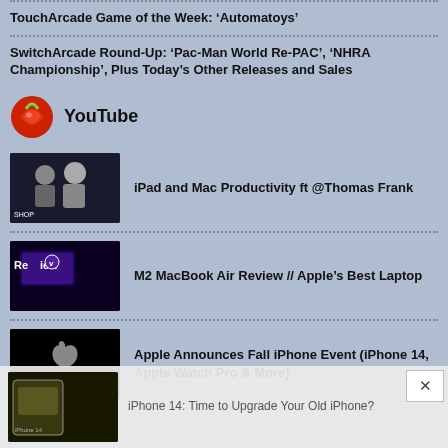TouchArcade Game of the Week: ‘Automatoys’
SwitchArcade Round-Up: ‘Pac-Man World Re-PAC’, ‘NHRA Championship’, Plus Today’s Other Releases and Sales
YouTube
iPad and Mac Productivity ft @Thomas Frank
M2 MacBook Air Review // Apple’s Best Laptop
Apple Announces Fall iPhone Event (iPhone 14, Apple Watch Pro & More)
iPhone 14: Time to Upgrade Your Old iPhone?